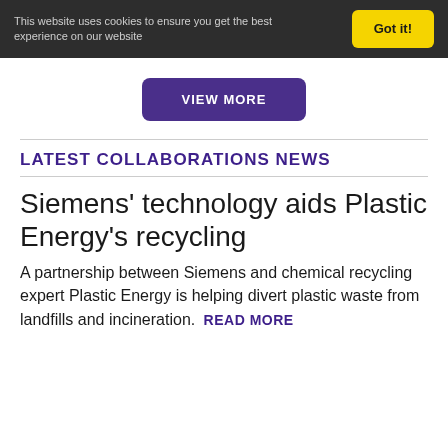This website uses cookies to ensure you get the best experience on our website   Got it!
VIEW MORE
LATEST COLLABORATIONS NEWS
Siemens' technology aids Plastic Energy's recycling
A partnership between Siemens and chemical recycling expert Plastic Energy is helping divert plastic waste from landfills and incineration. READ MORE